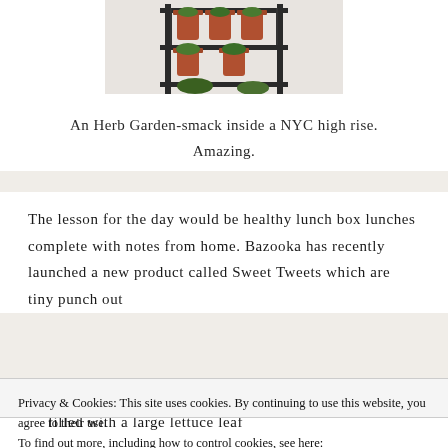[Figure (photo): Herb garden with terracotta pots on a black metal rack, photographed inside a NYC high rise]
An Herb Garden-smack inside a NYC high rise. Amazing.
The lesson for the day would be healthy lunch box lunches complete with notes from home. Bazooka has recently launched a new product called Sweet Tweets which are tiny punch out
Privacy & Cookies: This site uses cookies. By continuing to use this website, you agree to their use.
To find out more, including how to control cookies, see here:
Cookie Policy
Close and accept
filled with a large lettuce leaf